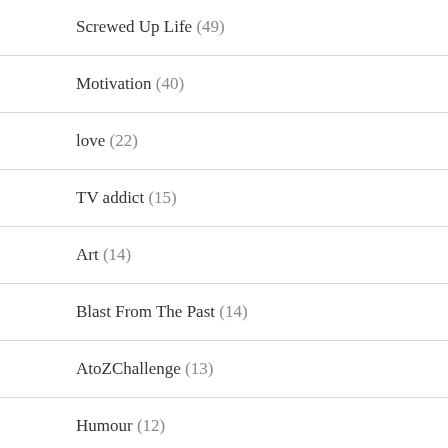Screwed Up Life (49)
Motivation (40)
love (22)
TV addict (15)
Art (14)
Blast From The Past (14)
AtoZChallenge (13)
Humour (12)
Travel (11)